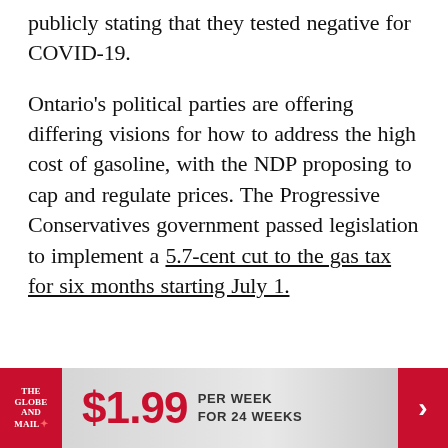publicly stating that they tested negative for COVID-19.
Ontario's political parties are offering differing visions for how to address the high cost of gasoline, with the NDP proposing to cap and regulate prices. The Progressive Conservatives government passed legislation to implement a 5.7-cent cut to the gas tax for six months starting July 1.
THE GLOBE AND MAIL  $1.99 PER WEEK FOR 24 WEEKS